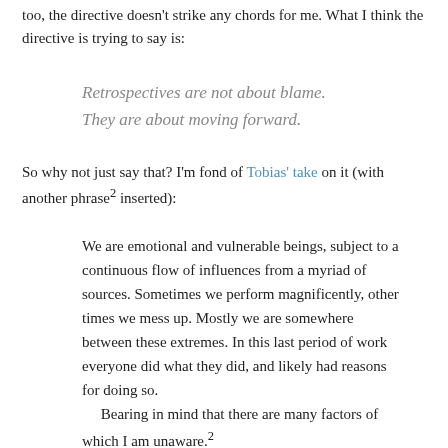too, the directive doesn't strike any chords for me. What I think the directive is trying to say is:
Retrospectives are not about blame. They are about moving forward.
So why not just say that? I'm fond of Tobias' take on it (with another phrase² inserted):
We are emotional and vulnerable beings, subject to a continuous flow of influences from a myriad of sources. Sometimes we perform magnificently, other times we mess up. Mostly we are somewhere between these extremes. In this last period of work everyone did what they did, and likely had reasons for doing so. Bearing in mind that there are many factors of which I am unaware.² Accept what is. And now, what can we learn from